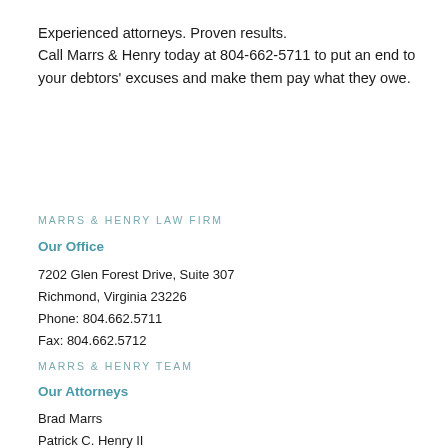Experienced attorneys. Proven results.
Call Marrs & Henry today at 804-662-5711 to put an end to your debtors' excuses and make them pay what they owe.
MARRS & HENRY LAW FIRM
Our Office
7202 Glen Forest Drive, Suite 307
Richmond, Virginia 23226
Phone: 804.662.5711
Fax: 804.662.5712
MARRS & HENRY TEAM
Our Attorneys
Brad Marrs
Patrick C. Henry II